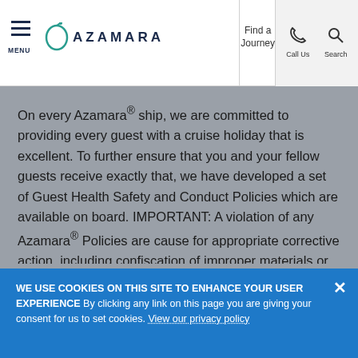MENU | AZAMARA | Find a Journey | Call Us | Search
On every Azamara® ship, we are committed to providing every guest with a cruise holiday that is excellent. To further ensure that you and your fellow guests receive exactly that, we have developed a set of Guest Health Safety and Conduct Policies which are available on board. IMPORTANT: A violation of any Azamara® Policies are cause for appropriate corrective action, including confiscation of improper materials or items, confinement/restriction of the guest from the ship or fo...
WE USE COOKIES ON THIS SITE TO ENHANCE YOUR USER EXPERIENCE By clicking any link on this page you are giving your consent for us to set cookies. View our privacy policy
NO, GIVE ME MORE INFO | OK, I AGREE